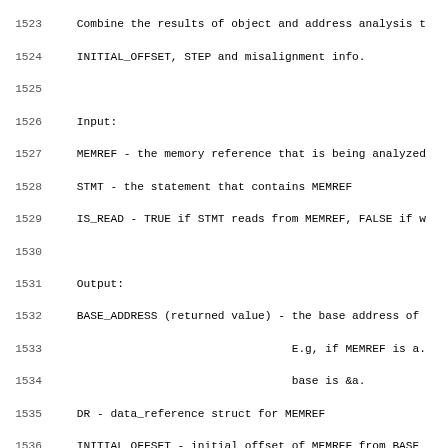Source code listing lines 1523-1554 showing a C function comment block for object_analysis describing inputs (MEMREF, STMT, IS_READ) and outputs (BASE_ADDRESS, DR, INITIAL_OFFSET, MISALIGN, ALIGNED_TO, STEP, MEMTAG, PTR_INFO, SUBVARS) and the function signature.